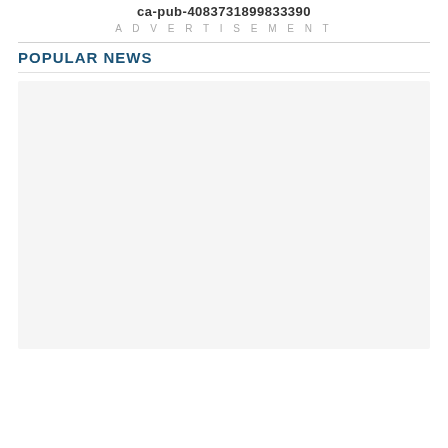ca-pub-4083731899833390
ADVERTISEMENT
POPULAR NEWS
[Figure (other): Empty light gray content placeholder box for popular news section]